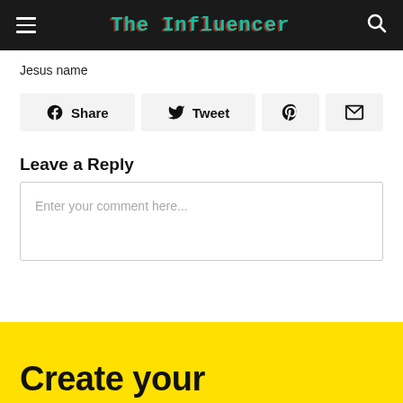The Influencer
Jesus name
Share  Tweet  [Pinterest]  [Mail]
Leave a Reply
Enter your comment here...
Create your